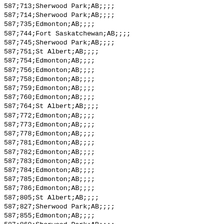587;713;Sherwood Park;AB;;;;
587;714;Sherwood Park;AB;;;;
587;735;Edmonton;AB;;;;
587;744;Fort Saskatchewan;AB;;;;
587;745;Sherwood Park;AB;;;;
587;751;St Albert;AB;;;;
587;754;Edmonton;AB;;;;
587;756;Edmonton;AB;;;;
587;758;Edmonton;AB;;;;
587;759;Edmonton;AB;;;;
587;760;Edmonton;AB;;;;
587;764;St Albert;AB;;;;
587;772;Edmonton;AB;;;;
587;773;Edmonton;AB;;;;
587;778;Edmonton;AB;;;;
587;781;Edmonton;AB;;;;
587;782;Edmonton;AB;;;;
587;783;Edmonton;AB;;;;
587;784;Edmonton;AB;;;;
587;785;Edmonton;AB;;;;
587;786;Edmonton;AB;;;;
587;805;St Albert;AB;;;;
587;827;Sherwood Park;AB;;;;
587;855;Edmonton;AB;;;;
587;860;Sherwood Park;AB;;;;
587;869;Fort Saskatchewan;AB;;;;
587;873;Edmonton;AB;;;;
587;879;Edmonton;AB;;;;
587;881;Edmonton;AB;;;;
587;882;Edmonton;AB;;;;